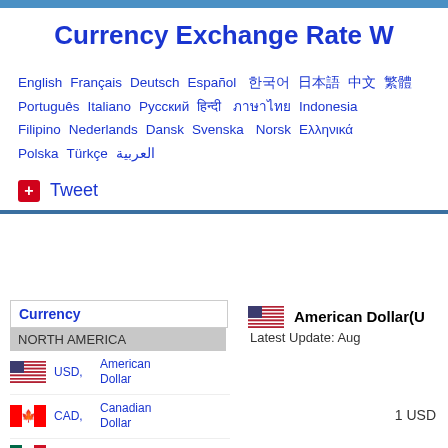Currency Exchange Rate W
English  Français  Deutsch  Español  한국어 日本語 中文 繁體  Português  Italiano  Русский  हिन्दी  ภาษาไทย  Indonesia  Filipino  Nederlands  Dansk  Svenska  Norsk  Ελληνικά  Polska  Türkçe  العربية
+ Tweet
| Currency |
| --- |
| NORTH AMERICA |
| 🇺🇸 USD, American Dollar |
| 🇨🇦 CAD, Canadian Dollar |
| 🇲🇽 MXN, Mexican Peso |
🇺🇸 American Dollar(U... Latest Update: Aug...
1 USD
10 USD